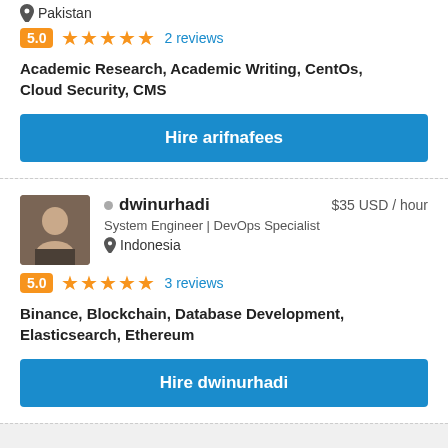Pakistan
5.0 ★★★★★ 2 reviews
Academic Research, Academic Writing, CentOs, Cloud Security, CMS
Hire arifnafees
dwinurhadi $35 USD / hour
System Engineer | DevOps Specialist
Indonesia
5.0 ★★★★★ 3 reviews
Binance, Blockchain, Database Development, Elasticsearch, Ethereum
Hire dwinurhadi